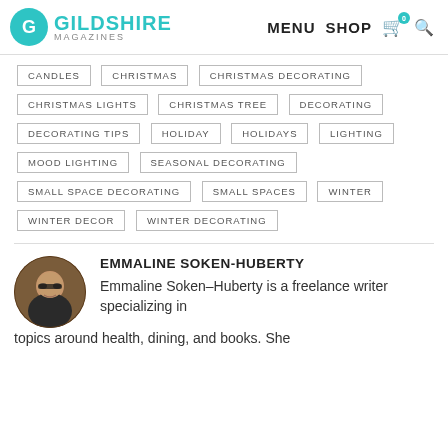GILDSHIRE MAGAZINES | MENU SHOP
CANDLES
CHRISTMAS
CHRISTMAS DECORATING
CHRISTMAS LIGHTS
CHRISTMAS TREE
DECORATING
DECORATING TIPS
HOLIDAY
HOLIDAYS
LIGHTING
MOOD LIGHTING
SEASONAL DECORATING
SMALL SPACE DECORATING
SMALL SPACES
WINTER
WINTER DECOR
WINTER DECORATING
[Figure (photo): Circular headshot of Emmaline Soken-Huberty, a woman with glasses and dark hair]
EMMALINE SOKEN-HUBERTY
Emmaline Soken-Huberty is a freelance writer specializing in topics around health, dining, and books. She...